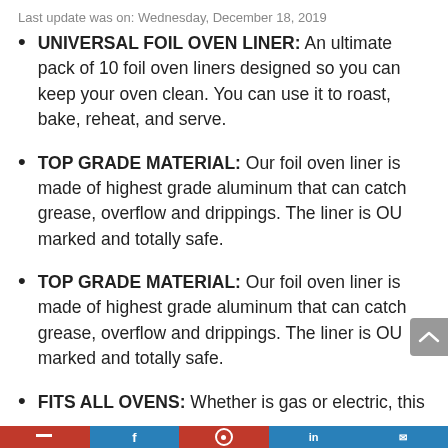Last update was on: Wednesday, December 18, 2019
UNIVERSAL FOIL OVEN LINER: An ultimate pack of 10 foil oven liners designed so you can keep your oven clean. You can use it to roast, bake, reheat, and serve.
TOP GRADE MATERIAL: Our foil oven liner is made of highest grade aluminum that can catch grease, overflow and drippings. The liner is OU marked and totally safe.
TOP GRADE MATERIAL: Our foil oven liner is made of highest grade aluminum that can catch grease, overflow and drippings. The liner is OU marked and totally safe.
FITS ALL OVENS: Whether is gas or electric, this foil liner is designed to fit all types of...